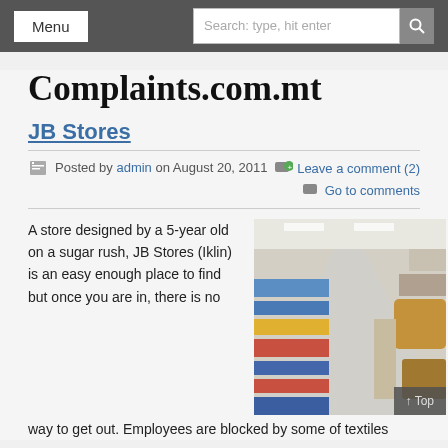Menu | Search: type, hit enter
Complaints.com.mt
JB Stores
Posted by admin on August 20, 2011
Leave a comment (2)
Go to comments
A store designed by a 5-year old on a sugar rush, JB Stores (Iklin) is an easy enough place to find but once you are in, there is no way to get out. Employees are blocked by some of textiles
[Figure (photo): Interior of JB Stores showing aisles filled with merchandise including textiles, baskets, and various household goods.]